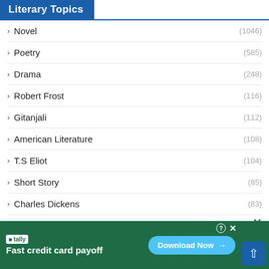Literary Topics
Novel (1046)
Poetry (585)
Drama (248)
Robert Frost (116)
Gitanjali (112)
American Literature (108)
T.S Eliot (104)
Short Story (85)
Charles Dickens (83)
WB Yeats (83)
William Blake (7-)
[Figure (screenshot): Advertisement banner for Tally app: Fast credit card payoff, Download Now button]